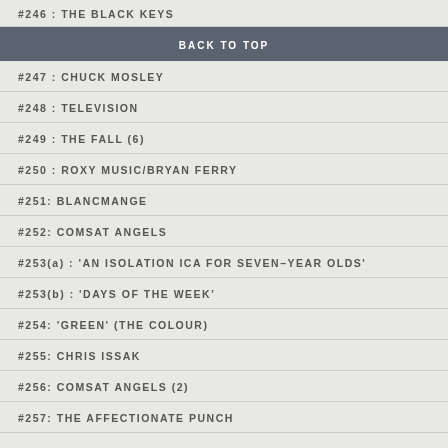#246 : THE BLACK KEYS
BACK TO TOP
#247 : CHUCK MOSLEY
#248 : TELEVISION
#249 : THE FALL (6)
#250 : ROXY MUSIC/BRYAN FERRY
#251: BLANCMANGE
#252: COMSAT ANGELS
#253(a) : 'AN ISOLATION ICA FOR SEVEN-YEAR OLDS'
#253(b) : 'DAYS OF THE WEEK'
#254: 'GREEN' (THE COLOUR)
#255: CHRIS ISSAK
#256: COMSAT ANGELS (2)
#257: THE AFFECTIONATE PUNCH